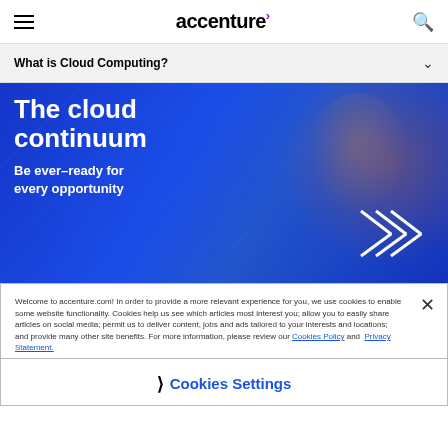accenture — navigation header with hamburger menu and search icon
What is Cloud Computing?
[Figure (photo): Hero banner showing a woman in an orange safety vest and glasses working with a glowing blue digital interface. Text overlay reads 'The cloud continuum — Be ever-ready for every opportunity'. Accenture arrow logo in bottom right corner.]
Welcome to accenture.com! In order to provide a more relevant experience for you, we use cookies to enable some website functionality. Cookies help us see which articles most interest you; allow you to easily share articles on social media; permit us to deliver content, jobs and ads tailored to your interests and locations; and provide many other site benefits. For more information, please review our Cookies Policy and Privacy Statement.
Cookies Settings